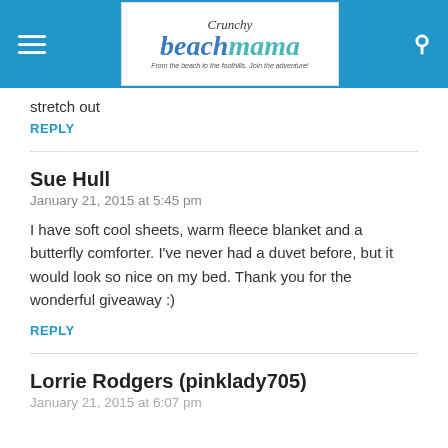Crunchy Beach Mama — From the beach to the foothills. Join the adventure!
stretch out
REPLY
Sue Hull
January 21, 2015 at 5:45 pm
I have soft cool sheets, warm fleece blanket and a butterfly comforter. I've never had a duvet before, but it would look so nice on my bed. Thank you for the wonderful giveaway :)
REPLY
Lorrie Rodgers (pinklady705)
January 21, 2015 at 6:07 pm